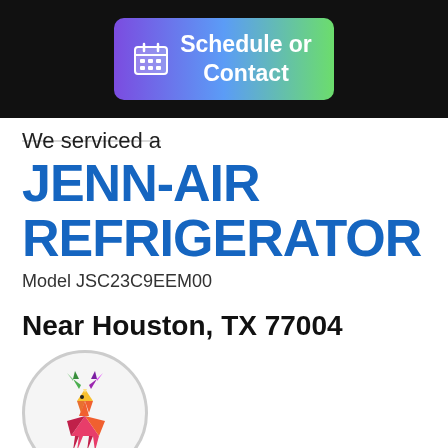[Figure (screenshot): Schedule or Contact button with gradient background (purple to green) and calendar icon]
We serviced a
JENN-AIR REFRIGERATOR
Model JSC23C9EEM00
Near Houston, TX 77004
[Figure (logo): Colorful geometric deer logo inside a light circle, with a blue 'ben' badge below]